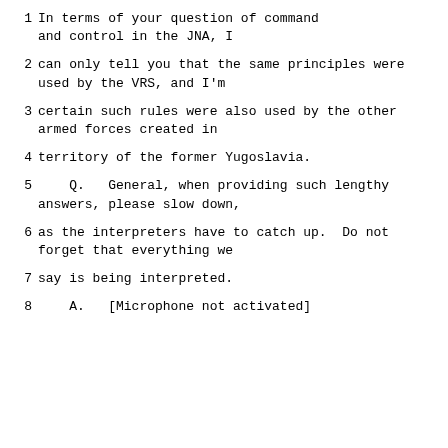1    In terms of your question of command and control in the JNA, I
2    can only tell you that the same principles were used by the VRS, and I'm
3    certain such rules were also used by the other armed forces created in
4    territory of the former Yugoslavia.
5    Q.   General, when providing such lengthy answers, please slow down,
6    as the interpreters have to catch up.  Do not forget that everything we
7    say is being interpreted.
8    A.   [Microphone not activated]